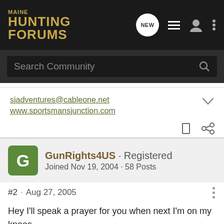MAINE HUNTING FORUMS
Search Community
sjadventures@cableone.net
www.sportsmansjunction.com
GunRights4US · Registered
Joined Nov 19, 2004 · 58 Posts
#2 · Aug 27, 2005
Hey I'll speak a prayer for you when next I'm on my knees.

Tell me...are you in a low area, or are you on higher ground? If you're low, give some serious thought to evacuating. I'm over